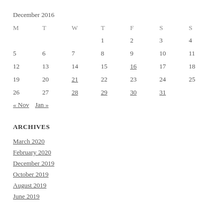December 2016
| M | T | W | T | F | S | S |
| --- | --- | --- | --- | --- | --- | --- |
|  |  |  | 1 | 2 | 3 | 4 |
| 5 | 6 | 7 | 8 | 9 | 10 | 11 |
| 12 | 13 | 14 | 15 | 16 | 17 | 18 |
| 19 | 20 | 21 | 22 | 23 | 24 | 25 |
| 26 | 27 | 28 | 29 | 30 | 31 |  |
« Nov   Jan »
ARCHIVES
March 2020
February 2020
December 2019
October 2019
August 2019
June 2019